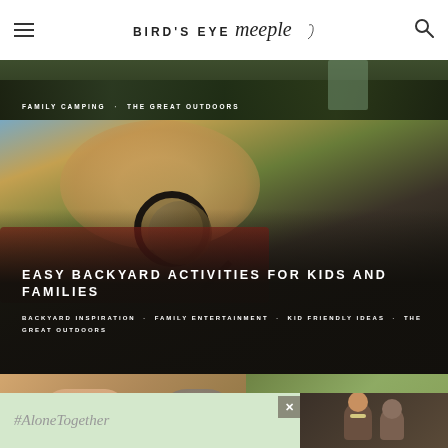BIRD'S EYE meeple
[Figure (photo): Dark outdoor camping scene, partially cropped at top, with white uppercase text overlay reading 'FAMILY CAMPING · THE GREAT OUTDOORS']
[Figure (photo): Child looking through a magnifying glass at a butterfly, with dark gradient overlay at bottom containing article title and category tags]
EASY BACKYARD ACTIVITIES FOR KIDS AND FAMILIES
BACKYARD INSPIRATION · FAMILY ENTERTAINMENT · KID FRIENDLY IDEAS · THE GREAT OUTDOORS
[Figure (photo): Hands engaged in outdoor activity, partially visible at bottom of page]
[Figure (other): #AloneTogether advertisement banner with smiling family photo]